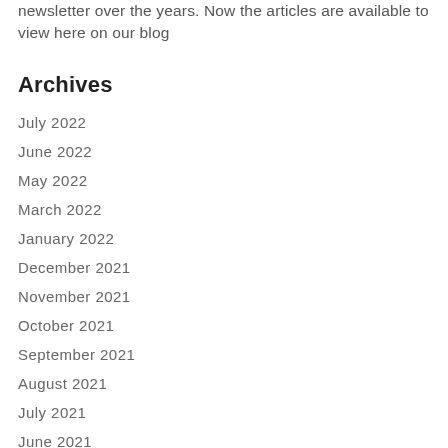newsletter over the years. Now the articles are available to view here on our blog
Archives
July 2022
June 2022
May 2022
March 2022
January 2022
December 2021
November 2021
October 2021
September 2021
August 2021
July 2021
June 2021
May 2021